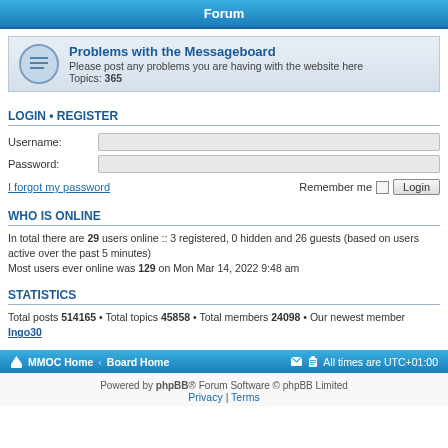Forum
Problems with the Messageboard
Please post any problems you are having with the website here
Topics: 365
LOGIN • REGISTER
Username:
Password:
I forgot my password
Remember me  Login
WHO IS ONLINE
In total there are 29 users online :: 3 registered, 0 hidden and 26 guests (based on users active over the past 5 minutes)
Most users ever online was 129 on Mon Mar 14, 2022 9:48 am
STATISTICS
Total posts 514165 • Total topics 45858 • Total members 24098 • Our newest member Ingo30
MMOC Home • Board Home   All times are UTC+01:00
Powered by phpBB® Forum Software © phpBB Limited
Privacy | Terms